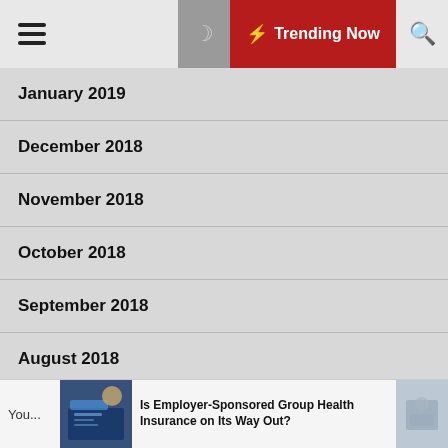Trending Now
January 2019
December 2018
November 2018
October 2018
September 2018
August 2018
July 2018
You... Is Employer-Sponsored Group Health Insurance on Its Way Out?